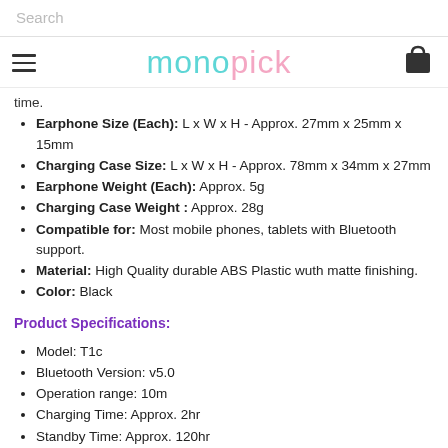Search
[Figure (logo): Monopick logo with hamburger menu and shopping cart icon]
time.
Earphone Size (Each): L x W x H - Approx. 27mm x 25mm x 15mm
Charging Case Size: L x W x H - Approx. 78mm x 34mm x 27mm
Earphone Weight (Each): Approx. 5g
Charging Case Weight : Approx. 28g
Compatible for: Most mobile phones, tablets with Bluetooth support.
Material: High Quality durable ABS Plastic wuth matte finishing.
Color: Black
Product Specifications:
Model: T1c
Bluetooth Version: v5.0
Operation range: 10m
Charging Time: Approx. 2hr
Standby Time: Approx. 120hr
Battery capacity (for earphones): 3.7V 43 mAh